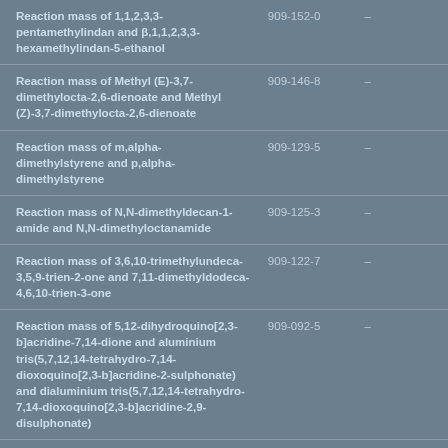| Name | EC Number | CAS Number |
| --- | --- | --- |
| Reaction mass of 1,1,2,3,3-pentamethylindan and β,1,1,2,3,3-hexamethylindan-5-ethanol | 909-152-0 | – |
| Reaction mass of Methyl (E)-3,7-dimethylocta-2,6-dienoate and Methyl (Z)-3,7-dimethylocta-2,6-dienoate | 909-146-8 | – |
| Reaction mass of m,alpha-dimethylstyrene and p,alpha-dimethylstyrene | 909-129-5 | – |
| Reaction mass of N,N-dimethyldecan-1-amide and N,N-dimethyloctanamide | 909-125-3 | – |
| Reaction mass of 3,6,10-trimethylundeca-3,5,9-trien-2-one and 7,11-dimethyldodeca-4,6,10-trien-3-one | 909-122-7 | – |
| Reaction mass of 5,12-dihydroquino[2,3-b]acridine-7,14-dione and aluminium tris(5,7,12,14-tetrahydro-7,14-dioxoquino[2,3-b]acridine-2-sulphonate) and dialuminium tris(5,7,12,14-tetrahydro-7,14-dioxoquino[2,3-b]acridine-2,9-disulphonate) | 909-092-5 | – |
| C.I. Pigment Red 282 | 909-082-0 | 938065-79-3 |